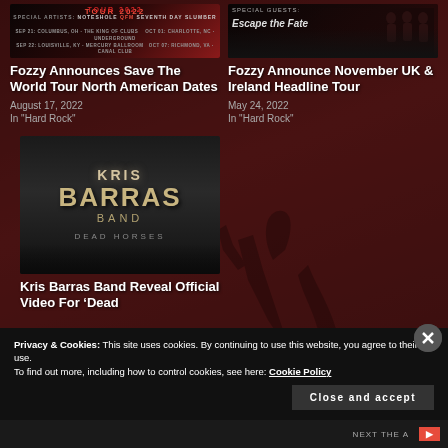[Figure (photo): Fozzy Save The World Tour 2022 promotional image with tour dates]
Fozzy Announces Save The World Tour North American Dates
August 17, 2022
In "Hard Rock"
[Figure (photo): Fozzy November UK & Ireland Headline Tour promotional image with special guests Escape The Fate]
Fozzy Announce November UK & Ireland Headline Tour
May 24, 2022
In "Hard Rock"
[Figure (photo): Kris Barras Band - Dead Horses album artwork with band name logo]
Kris Barras Band Reveal Official Video For 'Dead
Privacy & Cookies: This site uses cookies. By continuing to use this website, you agree to their use.
To find out more, including how to control cookies, see here: Cookie Policy
Close and accept